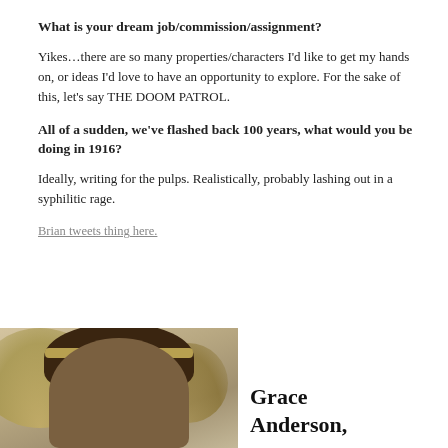What is your dream job/commission/assignment?
Yikes…there are so many properties/characters I'd like to get my hands on, or ideas I'd love to have an opportunity to explore.  For the sake of this, let's say THE DOOM PATROL.
All of a sudden, we've flashed back 100 years, what would you be doing in 1916?
Ideally, writing for the pulps.  Realistically, probably lashing out in a syphilitic rage.
Brian tweets thing here.
[Figure (photo): Portrait photo of a woman with dark hair and a headband, with decorative fan-shaped props in background]
Grace Anderson,